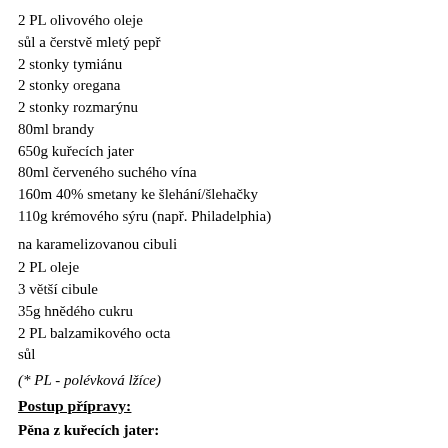2 PL olivového oleje
sůl a čerstvě mletý pepř
2 stonky tymiánu
2 stonky oregana
2 stonky rozmarýnu
80ml brandy
650g kuřecích jater
80ml červeného suchého vína
160m 40% smetany ke šlehání/šlehačky
110g krémového sýru (např. Philadelphia)
na karamelizovanou cibuli
2 PL oleje
3 větší cibule
35g hnědého cukru
2 PL balzamikového octa
sůl
(* PL - polévková lžíce)
Postup přípravy:
Pěna z kuřecích jater:
Cibuli oloupejte a nakrájejte na tenké plátky. Smažte na oleji na při nízké teplotě 5-7 minut. Osolte, opepřete a smažte dalších 5 minut.